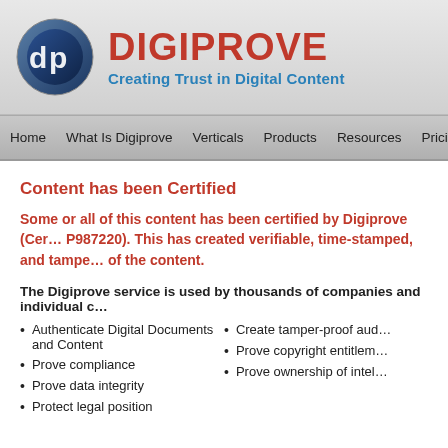[Figure (logo): Digiprove logo: circular dark blue emblem with stylized 'dp' letters, next to bold red 'DIGIPROVE' text and blue tagline 'Creating Trust in Digital Content']
Home   What Is Digiprove   Verticals   Products   Resources   Pricing
Content has been Certified
Some or all of this content has been certified by Digiprove (Certificate Number P987220). This has created verifiable, time-stamped, and tamper-proof records of the content.
The Digiprove service is used by thousands of companies and individual c...
Authenticate Digital Documents and Content
Prove compliance
Prove data integrity
Protect legal position
Create tamper-proof aud...
Prove copyright entitlem...
Prove ownership of intel...